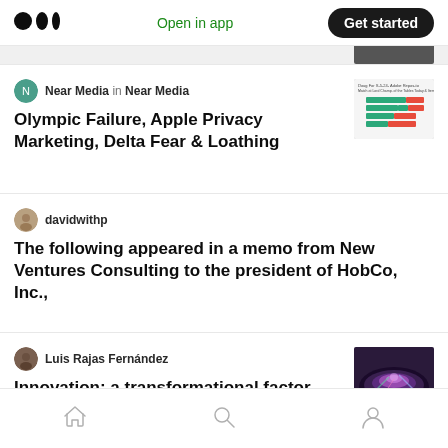Medium app header with logo, Open in app, Get started
Near Media in Near Media
Olympic Failure, Apple Privacy Marketing, Delta Fear & Loathing
davidwithp
The following appeared in a memo from New Ventures Consulting to the president of HobCo, Inc.,
Luis Rajas Fernández
Innovation: a transformational factor
Home | Search | Profile navigation icons